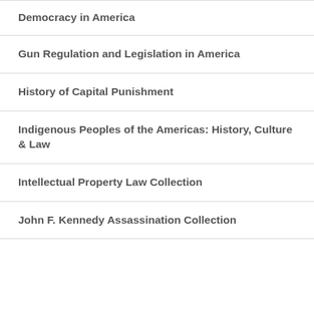Democracy in America
Gun Regulation and Legislation in America
History of Capital Punishment
Indigenous Peoples of the Americas: History, Culture & Law
Intellectual Property Law Collection
John F. Kennedy Assassination Collection